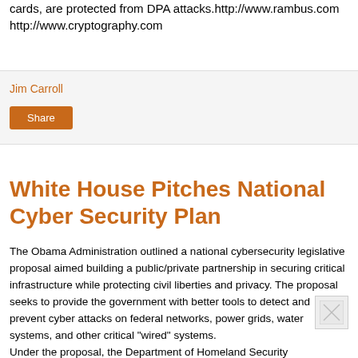cards, are protected from DPA attacks.http://www.rambus.com http://www.cryptography.com
Jim Carroll
Share
White House Pitches National Cyber Security Plan
The Obama Administration outlined a national cybersecurity legislative proposal aimed building a public/private partnership in securing critical infrastructure while protecting civil liberties and privacy. The proposal seeks to provide the government with better tools to detect and prevent cyber attacks on federal networks, power grids, water systems, and other critical "wired" systems.
Under the proposal, the Department of Homeland Security